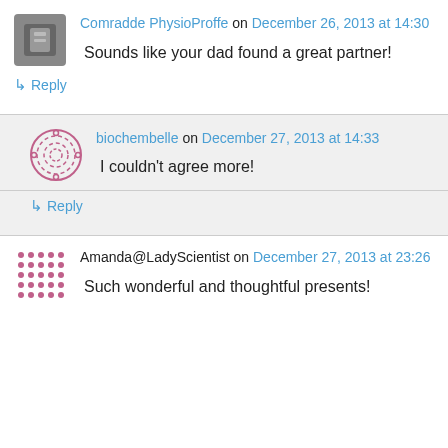Comradde PhysioProffe on December 26, 2013 at 14:30
Sounds like your dad found a great partner!
↳ Reply
biochembelle on December 27, 2013 at 14:33
I couldn't agree more!
↳ Reply
Amanda@LadyScientist on December 27, 2013 at 23:26
Such wonderful and thoughtful presents!